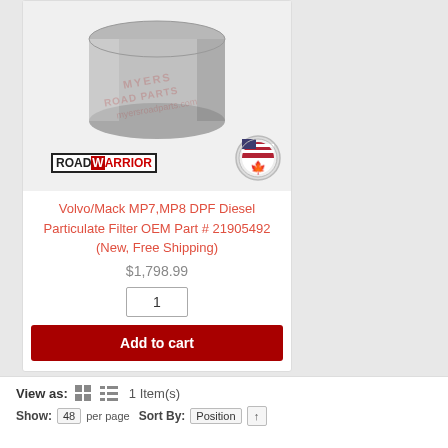[Figure (photo): Product photo of a cylindrical diesel particulate filter (DPF) with a RoadWarrior logo and a USA/Canada made badge, on a light gray background.]
Volvo/Mack MP7,MP8 DPF Diesel Particulate Filter OEM Part # 21905492 (New, Free Shipping)
$1,798.99
1
Add to cart
View as:  1 Item(s)
Show: 48 per page  Sort By: Position